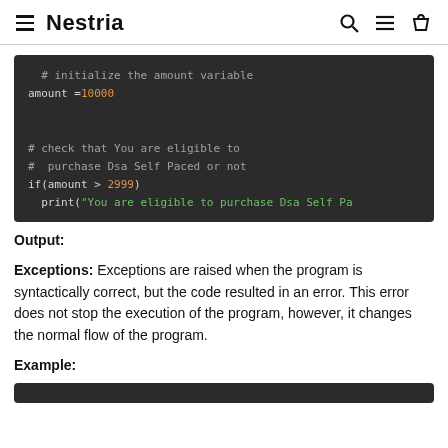≡ Nestria
[Figure (screenshot): Dark-themed code block showing Python code: initializing amount variable to 10000, checking eligibility condition if amount > 2999, and print statement for Dsa Self Paced purchase eligibility]
Output:
Exceptions: Exceptions are raised when the program is syntactically correct, but the code resulted in an error. This error does not stop the execution of the program, however, it changes the normal flow of the program.
Example:
[Figure (screenshot): Dark-themed code block (bottom, partially visible)]